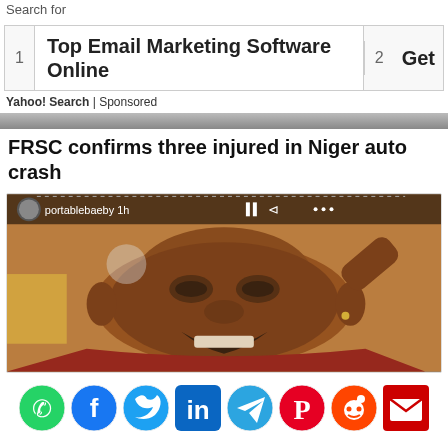Search for
1  Top Email Marketing Software Online   2  Get
Yahoo! Search | Sponsored
FRSC confirms three injured in Niger auto crash
[Figure (photo): A man's face with expression, shown in a social media video frame with username portablebaeby visible at top]
[Figure (infographic): Social media share icons row: WhatsApp, Facebook, Twitter, LinkedIn, Telegram, Pinterest, Reddit, Email]